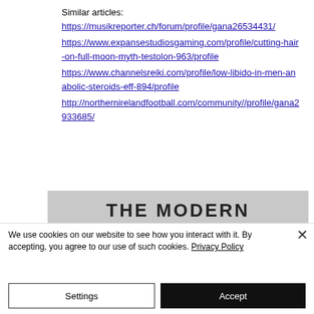Similar articles:
https://musikreporter.ch/forum/profile/gana26534431/
https://www.expansestudiosgaming.com/profile/cutting-hair-on-full-moon-myth-testolon-963/profile
https://www.channelsreiki.com/profile/low-libido-in-men-anabolic-steroids-eff-894/profile
http://northernirelandfootball.com/community//profile/gana2933685/
[Figure (other): Gray banner with bold uppercase text 'THE MODERN']
We use cookies on our website to see how you interact with it. By accepting, you agree to our use of such cookies. Privacy Policy
Settings
Accept